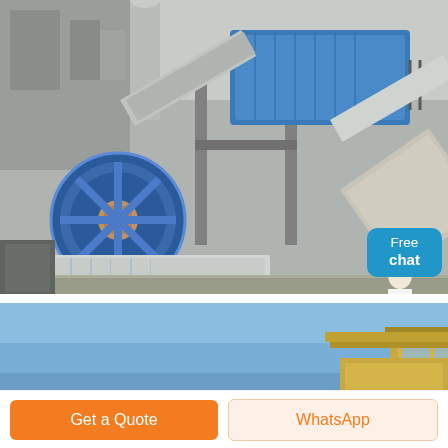[Figure (photo): Industrial sand washing machine with large blue flywheel/wheel on the left, conveyor belts, structural steel supports, and industrial equipment at a mining or aggregate processing site. A person in white stands to the right. A 'Free chat' blue bubble overlay appears in the top-right area.]
[Figure (photo): Partial view of a construction or mining vehicle/machine against a blue sky background, showing the upper portion including a cab and boom/arm.]
Free chat
Get a Quote
WhatsApp